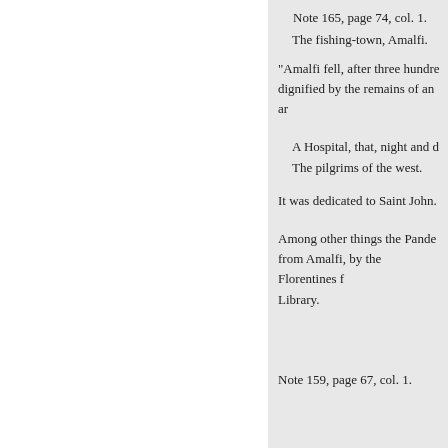Note 165, page 74, col. 1.
The fishing-town, Amalfi.
"Amalfi fell, after three hundre dignified by the remains of an ar
A Hospital, that, night and d
The pilgrims of the west.
It was dedicated to Saint John.
Among other things the Pande from Amalfi, by the Florentines f Library.
Note 159, page 67, col. 1.